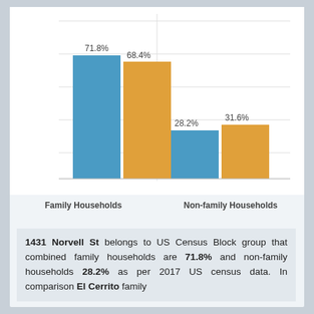[Figure (grouped-bar-chart): ]
1431 Norvell St belongs to US Census Block group that combined family households are 71.8% and non-family households 28.2% as per 2017 US census data. In comparison El Cerrito family